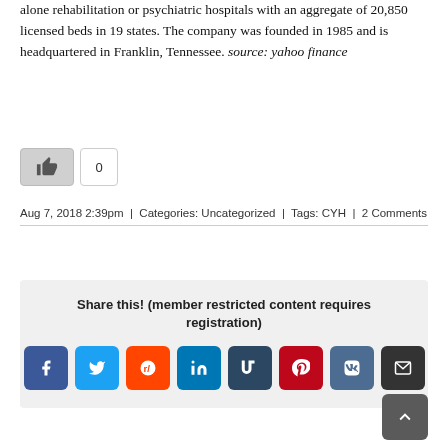alone rehabilitation or psychiatric hospitals with an aggregate of 20,850 licensed beds in 19 states. The company was founded in 1985 and is headquartered in Franklin, Tennessee. source: yahoo finance
[Figure (other): Like button (thumbs up icon) and count badge showing 0]
Aug 7, 2018 2:39pm | Categories: Uncategorized | Tags: CYH | 2 Comments
Share this! (member restricted content requires registration)
[Figure (other): Social sharing icons: Facebook, Twitter, Reddit, LinkedIn, Tumblr, Pinterest, VK, Email]